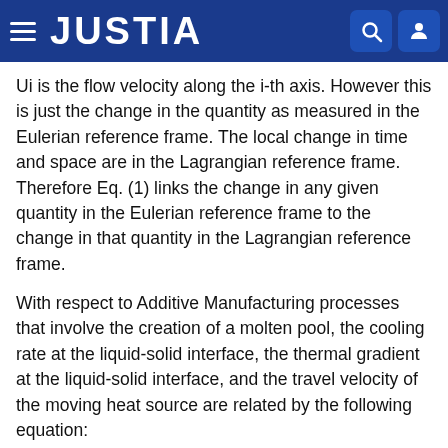JUSTIA
Ui is the flow velocity along the i-th axis. However this is just the change in the quantity as measured in the Eulerian reference frame. The local change in time and space are in the Lagrangian reference frame. Therefore Eq. (1) links the change in any given quantity in the Eulerian reference frame to the change in that quantity in the Lagrangian reference frame.
With respect to Additive Manufacturing processes that involve the creation of a molten pool, the cooling rate at the liquid-solid interface, the thermal gradient at the liquid-solid interface, and the travel velocity of the moving heat source are related by the following equation:
Wh...